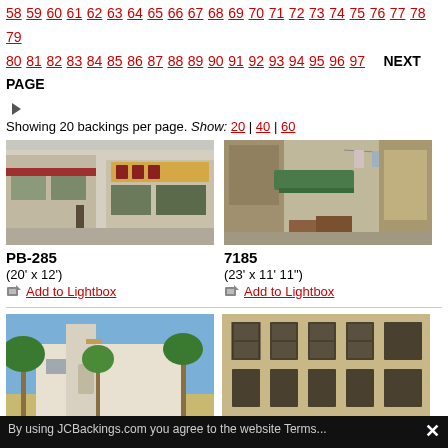58 59 60 61 62 63 64 65 66 67 68 69 70 71 72 73 74 75 76 77 78 79
80 81 82 83 84 85 86 87 88 89 90 91 92 93 94 95 96 97  NEXT PAGE
Showing 20 backings per page. Show: 20 | 40 | 60
[Figure (photo): Painted backing PB-285: Asian street scene with shop fronts, Chinese signage, storefront displays]
PB-285
(20' x 12')
Add to Lightbox
[Figure (photo): Painted backing 7185: Weathered market alley scene with barrels, wooden supports, awnings, hanging laundry]
7185
(23' x 11' 11")
Add to Lightbox
[Figure (photo): Painted backing PB-46: Mediterranean courtyard with palm trees, white archway, sunny exterior]
PB-46
[Figure (photo): Painted backing PB-145: European building facade with shuttered windows, ornate stonework]
PB-145
By using JCBackings.com you agree to the website Terms...